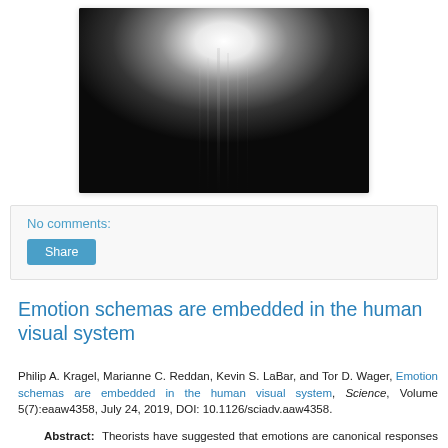[Figure (photo): Black and white photograph showing a bright light source at the top center against a dark background, with vertical streaks of light descending, like a lamp or glowing object in a dark room.]
No comments:
Share
Emotion schemas are embedded in the human visual system
Philip A. Kragel, Marianne C. Reddan, Kevin S. LaBar, and Tor D. Wager, Emotion schemas are embedded in the human visual system, Science, Volume 5(7):eaaw4358, July 24, 2019, DOI: 10.1126/sciadv.aaw4358.
Abstract: Theorists have suggested that emotions are canonical responses to situations